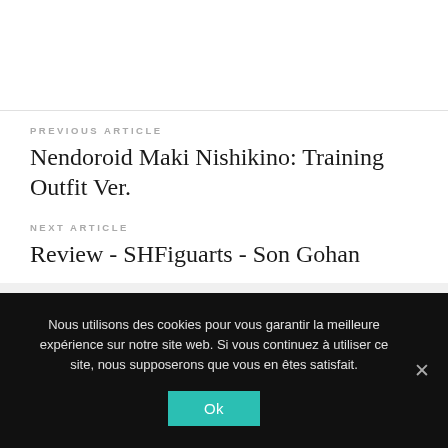PREVIOUS ARTICLE
Nendoroid Maki Nishikino: Training Outfit Ver.
NEXT ARTICLE
Review - SHFiguarts - Son Gohan
Nous utilisons des cookies pour vous garantir la meilleure expérience sur notre site web. Si vous continuez à utiliser ce site, nous supposerons que vous en êtes satisfait.